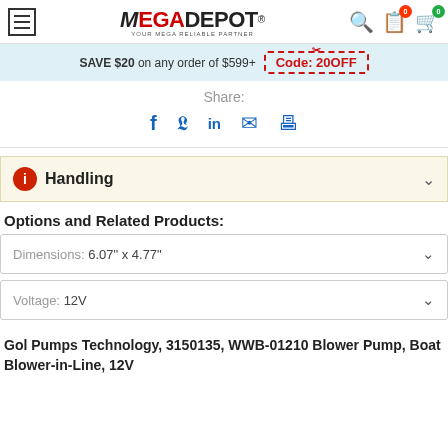MEGADEPOT® YOUR MEGA RELIABLE PARTNER
SAVE $20 on any order of $599+ Code: 20OFF
Share:
Handling
Options and Related Products:
Dimensions: 6.07" x 4.77"
Voltage: 12V
Gol Pumps Technology, 3150135, WWB-01210 Blower Pump, Boat Blower-in-Line, 12V